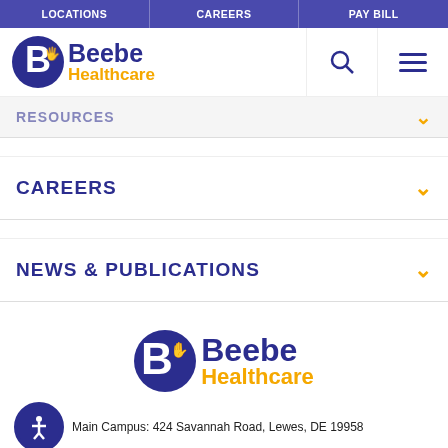LOCATIONS | CAREERS | PAY BILL
[Figure (logo): Beebe Healthcare logo with stylized B icon, blue 'Beebe' text and orange 'Healthcare' text]
RESOURCES
CAREERS
NEWS & PUBLICATIONS
[Figure (logo): Beebe Healthcare footer logo, larger version]
Main Campus: 424 Savannah Road, Lewes, DE 19958